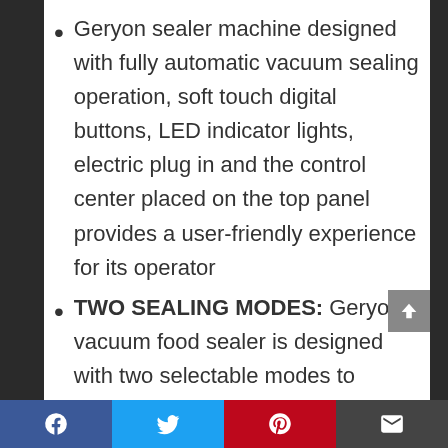Geryon sealer machine designed with fully automatic vacuum sealing operation, soft touch digital buttons, LED indicator lights, electric plug in and the control center placed on the top panel provides a user-friendly experience for its operator
TWO SEALING MODES: Geryon vacuum food sealer is designed with two selectable modes to provide your food with best possible preservation based on your different types of food. You can also reseal bags of rolls, snacks that you...